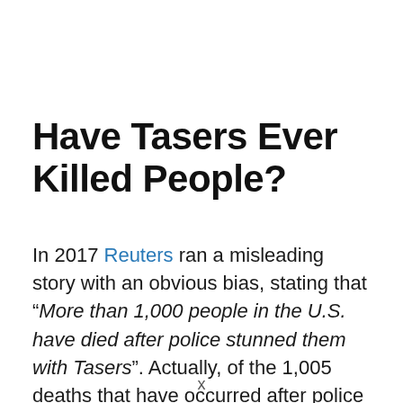Have Tasers Ever Killed People?
In 2017 Reuters ran a misleading story with an obvious bias, stating that “More than 1,000 people in the U.S. have died after police stunned them with Tasers”. Actually, of the 1,005 deaths that have occurred after police stunned them with Tasers, the stun gun was ruled to be a cause or contributing factor in only 153 of those deaths. In
x